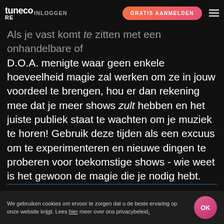TuneCore INLOGGEN | GRATIS AANMELDEN
zijn gekomen.
Als je vast komt te zitten met een onhandelbare of D.O.A. menigte waar geen enkele hoeveelheid magie zal werken om ze in jouw voordeel te brengen, hou er dan rekening mee dat je meer shows zult hebben en het juiste publiek staat te wachten om je muziek te horen! Gebruik deze tijden als een excuus om te experimenteren en nieuwe dingen te proberen voor toekomstige shows - wie weet is het gewoon de magie die je nodig hebt.
Suzanne Paulinksi is een artistiek adviseur met meer dan 10 jaar ervaring in de muziekindustrie en ...
We gebruiken cookies om ervoor te zorgen dat u de beste ervaring op onze website krijgt. Lees hier meer over ons privacybeleid.